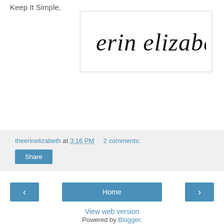Keep It Simple,
[Figure (illustration): Handwritten cursive signature reading 'erin elizabeth' in black ink on white background with light border]
theerinelizabeth at 3:16 PM   2 comments:
Share
Home
View web version
Powered by Blogger.